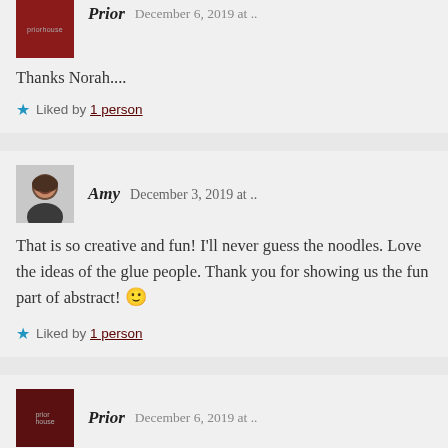Thanks Norah....
Liked by 1 person
Amy   December 3, 2019 at ..
That is so creative and fun! I'll never guess the noodles. Love the ideas of the glue people. Thank you for showing us the fun part of abstract! 🙂
Liked by 1 person
Prior   December 6, 2019 at ..